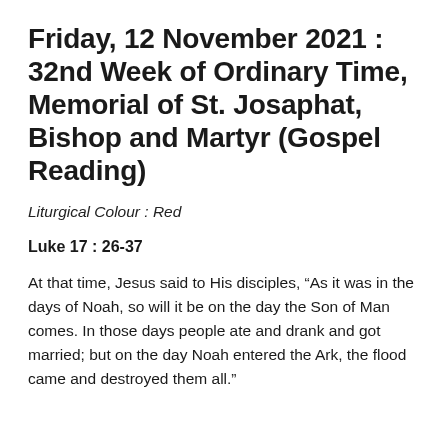Friday, 12 November 2021 : 32nd Week of Ordinary Time, Memorial of St. Josaphat, Bishop and Martyr (Gospel Reading)
Liturgical Colour : Red
Luke 17 : 26-37
At that time, Jesus said to His disciples, “As it was in the days of Noah, so will it be on the day the Son of Man comes. In those days people ate and drank and got married; but on the day Noah entered the Ark, the flood came and destroyed them all.”